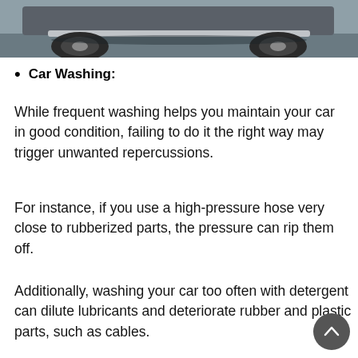[Figure (photo): Bottom portion of a car with wheels visible, parked on a gray surface.]
Car Washing:
While frequent washing helps you maintain your car in good condition, failing to do it the right way may trigger unwanted repercussions.
For instance, if you use a high-pressure hose very close to rubberized parts, the pressure can rip them off.
Additionally, washing your car too often with detergent can dilute lubricants and deteriorate rubber and plastic parts, such as cables.